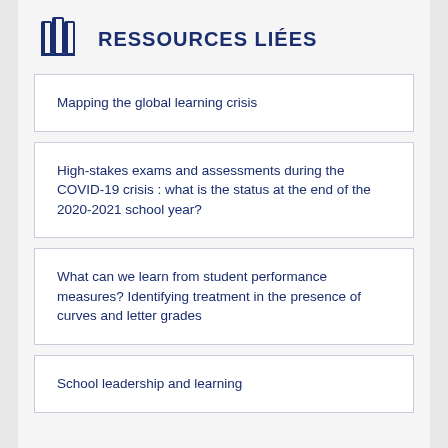RESSOURCES LIÉES
Mapping the global learning crisis
High-stakes exams and assessments during the COVID-19 crisis : what is the status at the end of the 2020-2021 school year?
What can we learn from student performance measures? Identifying treatment in the presence of curves and letter grades
School leadership and learning